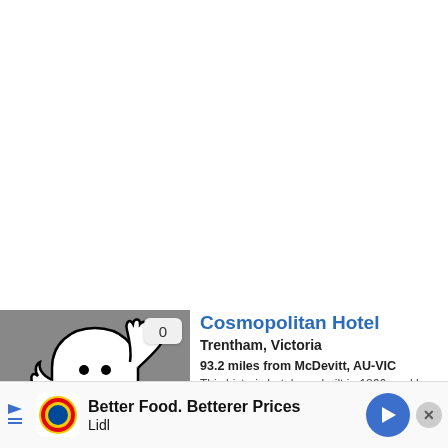[Figure (illustration): Ghost cartoon illustration — a white friendly ghost with a smiling face and raised arm on a grey background]
Cosmopolitan Hotel
Trentham, Victoria
93.2 miles from McDevitt, AU-VIC
This historic hotel was built in 1866, and has maintained its popularity ever since its founding during the gold-rush era. Despite being recently gutted by fire, events and staff
[Figure (screenshot): Lidl advertisement banner: Better Food. Betterer Prices — Lidl logo and navigation arrow icon]